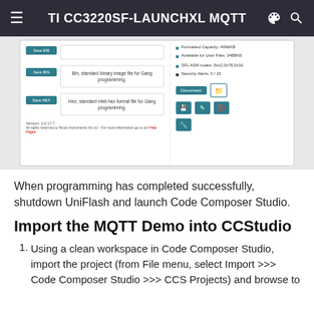TI CC3220SF-LAUNCHXL MQTT
[Figure (screenshot): Screenshot of UniFlash programming tool interface showing Save BIN and Save HEX buttons with descriptions, version info, and disconnect/action buttons on right panel with device info including Formatted Capacity: 4096KB, Available for User Files: 3488KB, SFL ASM codes, Security Alerts: 0/15]
When programming has completed successfully, shutdown UniFlash and launch Code Composer Studio.
Import the MQTT Demo into CCStudio
Using a clean workspace in Code Composer Studio, import the project (from File menu, select Import >>> Code Composer Studio >>> CCS Projects) and browse to